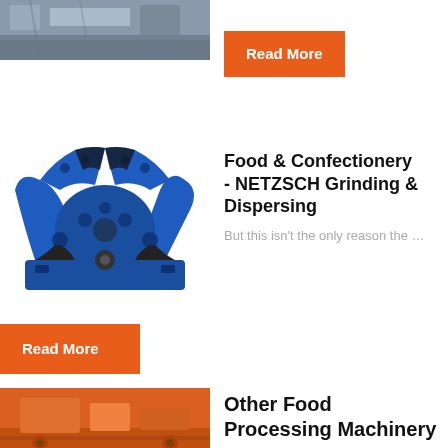[Figure (photo): Industrial machinery photo at top left, grey/blue tones]
Read More
[Figure (illustration): Blue industrial grinding/dispersing machine 3D illustration]
Food & Confectionery - NETZSCH Grinding & Dispersing
But this isn't the only reason the …
Read More
[Figure (photo): Orange industrial machinery photo at bottom left]
Other Food Processing Machinery